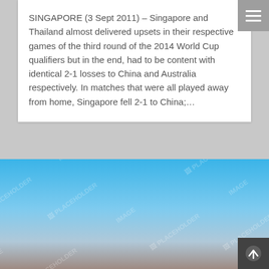SINGAPORE (3 Sept 2011) – Singapore and Thailand almost delivered upsets in their respective games of the third round of the 2014 World Cup qualifiers but in the end, had to be content with identical 2-1 losses to China and Australia respectively. In matches that were all played away from home, Singapore fell 2-1 to China;…
[Figure (photo): Image placeholder — sky gradient from blue at top to muted brownish-grey at bottom, with repeating IMAGE PLACEHOLDER watermark text in light grey across the entire area.]